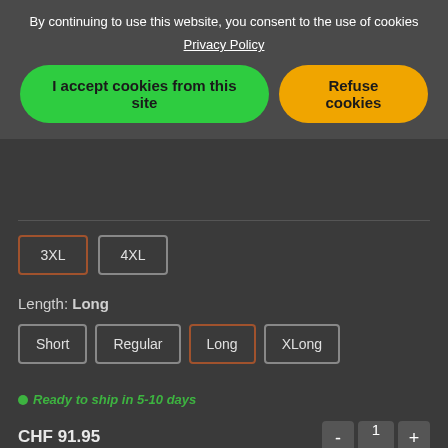By continuing to use this website, you consent to the use of cookies
Privacy Policy
I accept cookies from this site
Refuse cookies
3XL
4XL
Length: Long
Short
Regular
Long
XLong
Ready to ship in 5-10 days
CHF 91.95
Add to Cart